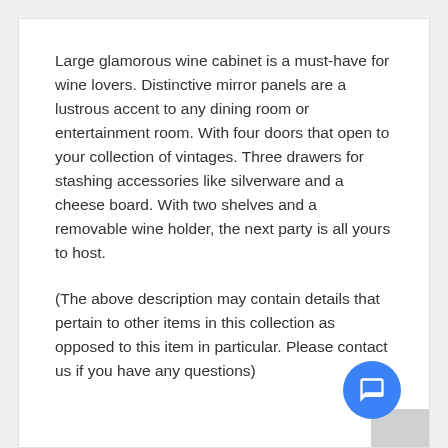Large glamorous wine cabinet is a must-have for wine lovers. Distinctive mirror panels are a lustrous accent to any dining room or entertainment room. With four doors that open to your collection of vintages. Three drawers for stashing accessories like silverware and a cheese board. With two shelves and a removable wine holder, the next party is all yours to host.
(The above description may contain details that pertain to other items in this collection as opposed to this item in particular. Please contact us if you have any questions)